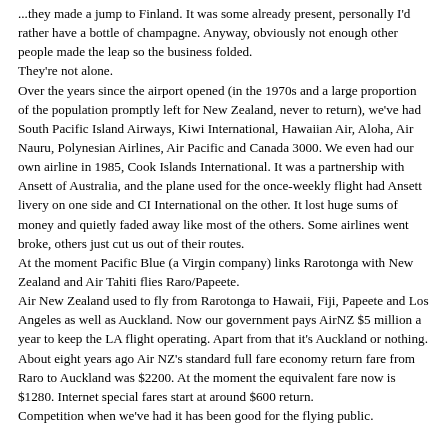...they made a jump to Finland. It was some already present, personally I'd rather have a bottle of champagne. Anyway, obviously not enough other people made the leap so the business folded.
They're not alone.
Over the years since the airport opened (in the 1970s and a large proportion of the population promptly left for New Zealand, never to return), we've had South Pacific Island Airways, Kiwi International, Hawaiian Air, Aloha, Air Nauru, Polynesian Airlines, Air Pacific and Canada 3000. We even had our own airline in 1985, Cook Islands International. It was a partnership with Ansett of Australia, and the plane used for the once-weekly flight had Ansett livery on one side and CI International on the other. It lost huge sums of money and quietly faded away like most of the others. Some airlines went broke, others just cut us out of their routes.
At the moment Pacific Blue (a Virgin company) links Rarotonga with New Zealand and Air Tahiti flies Raro/Papeete.
Air New Zealand used to fly from Rarotonga to Hawaii, Fiji, Papeete and Los Angeles as well as Auckland. Now our government pays AirNZ $5 million a year to keep the LA flight operating. Apart from that it's Auckland or nothing. About eight years ago Air NZ's standard full fare economy return fare from Raro to Auckland was $2200. At the moment the equivalent fare now is $1280. Internet special fares start at around $600 return.
Competition when we've had it has been good for the flying public.